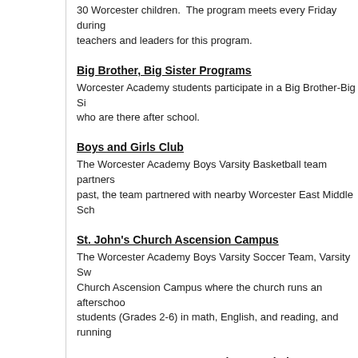30 Worcester children. The program meets every Friday during teachers and leaders for this program.
Big Brother, Big Sister Programs
Worcester Academy students participate in a Big Brother-Big Sis who are there after school.
Boys and Girls Club
The Worcester Academy Boys Varsity Basketball team partners past, the team partnered with nearby Worcester East Middle Sch
St. John's Church Ascension Campus
The Worcester Academy Boys Varsity Soccer Team, Varsity Sw Church Ascension Campus where the church runs an afterschoo students (Grades 2-6) in math, English, and reading, and running
Greater Worcester Community Foundation
Worcester Academy continues to have students serve the comm Foundation's Youth for Community Involvement.
Worcester City Council
In 2012, the city of Worcester formed its first-ever Youth Counci Worcester Academy student was both a founding and current m